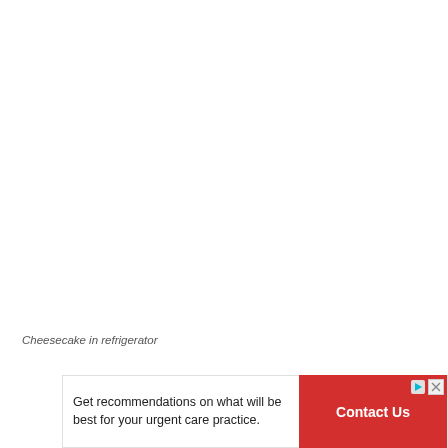[Figure (photo): White/blank area where a photo of cheesecake in refrigerator would appear (image not loaded or white background)]
Cheesecake in refrigerator
Get recommendations on what will be best for your urgent care practice.
[Figure (other): Advertisement banner with red Contact Us button, play and close icons, and Ad label]